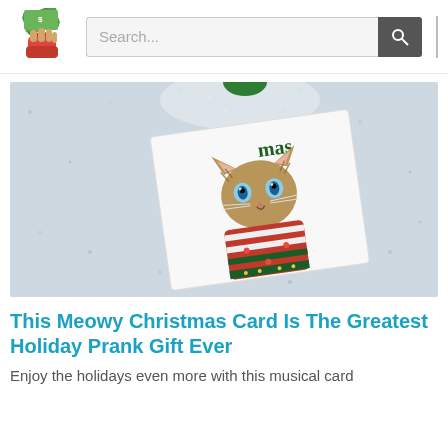Search...
[Figure (photo): A Christmas card featuring a cat wearing a red and green ugly Christmas sweater, placed on a sparkling glittery white background with confetti/sequins scattered around. The card shows text partially visible reading 'mas'.]
This Meowy Christmas Card Is The Greatest Holiday Prank Gift Ever
Enjoy the holidays even more with this musical card